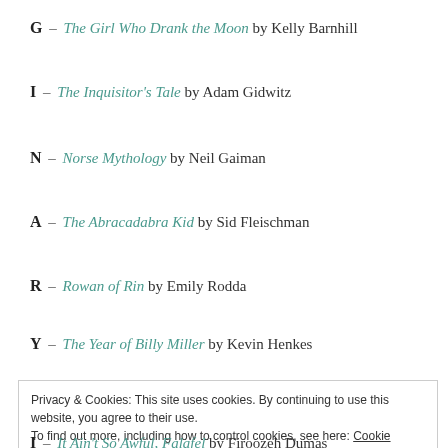G – The Girl Who Drank the Moon by Kelly Barnhill
I – The Inquisitor's Tale by Adam Gidwitz
N – Norse Mythology by Neil Gaiman
A – The Abracadabra Kid by Sid Fleischman
R – Rowan of Rin by Emily Rodda
Y – The Year of Billy Miller by Kevin Henkes
Privacy & Cookies: This site uses cookies. By continuing to use this website, you agree to their use. To find out more, including how to control cookies, see here: Cookie Policy
I – It Ain't So Awful, Falafel by Firoozeh Dumas